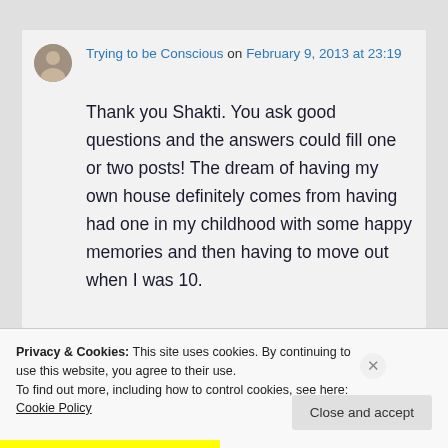Trying to be Conscious on February 9, 2013 at 23:19
Thank you Shakti. You ask good questions and the answers could fill one or two posts! The dream of having my own house definitely comes from having had one in my childhood with some happy memories and then having to move out when I was 10.
Privacy & Cookies: This site uses cookies. By continuing to use this website, you agree to their use.
To find out more, including how to control cookies, see here: Cookie Policy
Close and accept